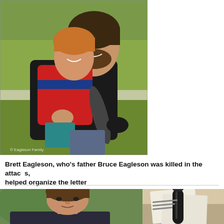[Figure (photo): A man holding a young boy and a large fish outdoors, with green trees in background. Watermark reads '© Eagleson Family'. Vintage photo style.]
Brett Eagleson, who's father Bruce Eagleson was killed in the attacks, helped organize the letter
[Figure (photo): Close-up portrait of a young man with short brown hair outdoors.]
[Figure (photo): Partial view of what appears to be documents or papers on a surface, partially cropped.]